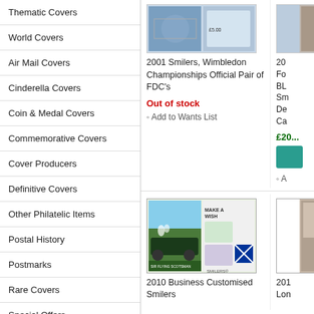Thematic Covers
World Covers
Air Mail Covers
Cinderella Covers
Coin & Medal Covers
Commemorative Covers
Cover Producers
Definitive Covers
Other Philatelic Items
Postal History
Postmarks
Rare Covers
Special Offers
Value Covers
[Figure (photo): 2001 Smilers Wimbledon Championships FDC product image]
2001 Smilers, Wimbledon Championships Official Pair of FDC's
Out of stock
Add to Wants List
[Figure (photo): Partially visible product image on the right]
20...
£20...
A...
[Figure (photo): 2010 Business Customised Smilers product image showing Flying Scotsman train]
2010 Business Customised Smilers
[Figure (photo): Partially visible second product in bottom row]
201... Lon...